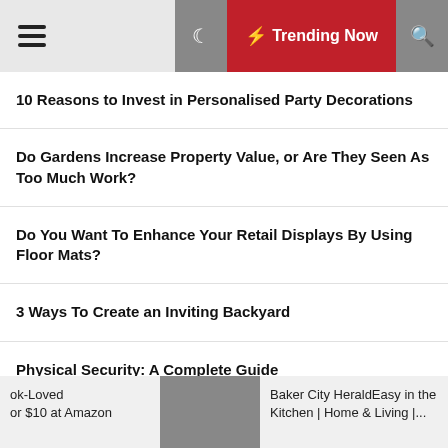☰ 🌙 ⚡ Trending Now 🔍
10 Reasons to Invest in Personalised Party Decorations
Do Gardens Increase Property Value, or Are They Seen As Too Much Work?
Do You Want To Enhance Your Retail Displays By Using Floor Mats?
3 Ways To Create an Inviting Backyard
Physical Security: A Complete Guide
Physical Security: A Complete Guide
ok-Loved or $10 at Amazon | Baker City HeraldEasy in the Kitchen | Home & Living |...